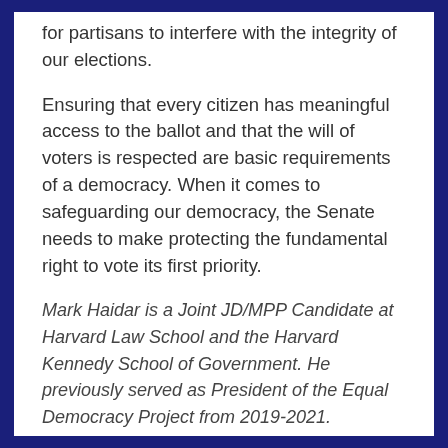for partisans to interfere with the integrity of our elections.
Ensuring that every citizen has meaningful access to the ballot and that the will of voters is respected are basic requirements of a democracy. When it comes to safeguarding our democracy, the Senate needs to make protecting the fundamental right to vote its first priority.
Mark Haidar is a Joint JD/MPP Candidate at Harvard Law School and the Harvard Kennedy School of Government. He previously served as President of the Equal Democracy Project from 2019-2021.